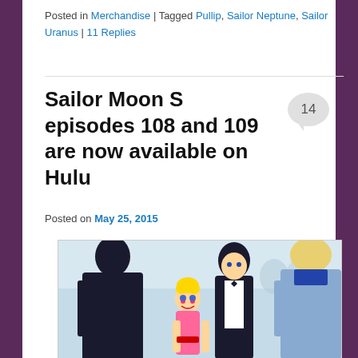Posted in Merchandise | Tagged Pullip, Sailor Neptune, Sailor Uranus | 11 Replies
Sailor Moon S episodes 108 and 109 are now available on Hulu
Posted on May 25, 2015
[Figure (illustration): Anime illustration from Sailor Moon S showing four characters at what appears to be a formal event: a dark-haired person from behind in a dark suit on the left, a small blonde girl with buns (Sailor Moon/Usagi) in pink in the center-left, a dark-haired young man in a tuxedo in the center, and a blonde person from behind in a light blue jacket on the right.]